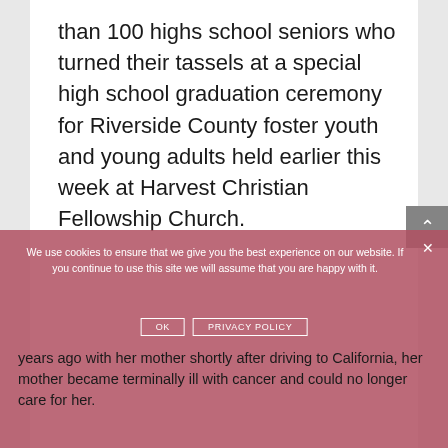than 100 highs school seniors who turned their tassels at a special high school graduation ceremony for Riverside County foster youth and young adults held earlier this week at Harvest Christian Fellowship Church.
We use cookies to ensure that we give you the best experience on our website. If you continue to use this site we will assume that you are happy with it.
years ago with her mother shortly after driving to California, her mother became terminally ill with cancer and could no longer care for her.